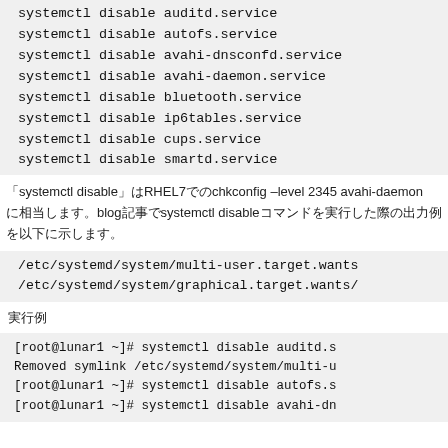systemctl disable auditd.service
systemctl disable autofs.service
systemctl disable avahi-dnsconfd.service
systemctl disable avahi-daemon.service
systemctl disable bluetooth.service
systemctl disable ip6tables.service
systemctl disable cups.service
systemctl disable smartd.service
「systemctl disable」はRHEL7でのchkconfig –level 2345 avahi-daemonに相当します。blog記事でsystemctl disableコマンドを実行した際の出力例を以下に示します。
/etc/systemd/system/multi-user.target.wants
/etc/systemd/system/graphical.target.wants/
実行例
[root@lunar1 ~]# systemctl disable auditd.s
Removed symlink /etc/systemd/system/multi-u
[root@lunar1 ~]# systemctl disable autofs.s
[root@lunar1 ~]# systemctl disable avahi-dn